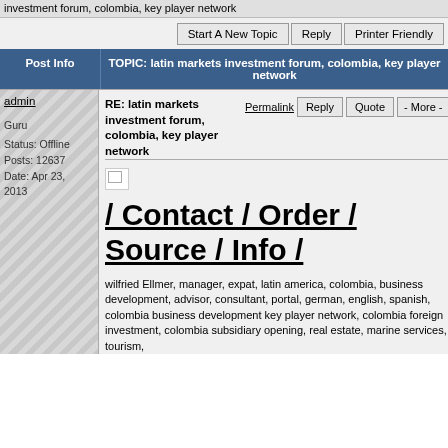investment forum, colombia, key player network
Start A New Topic | Reply | Printer Friendly
| Post Info | TOPIC: latin markets investment forum, colombia, key player network |
| --- | --- |
admin
Guru
Status: Offline
Posts: 12637
Date: Apr 23, 2013
RE: latin markets investment forum, colombia, key player network
Permalink | Reply | Quote | - More -
[Figure (photo): Broken image placeholder]
/ Contact / Order / Source / Info /
wilfried Ellmer, manager, expat, latin america, colombia, business development, advisor, consultant, portal, german, english, spanish, colombia business development key player network, colombia foreign investment, colombia subsidiary opening, real estate, marine services, tourism,